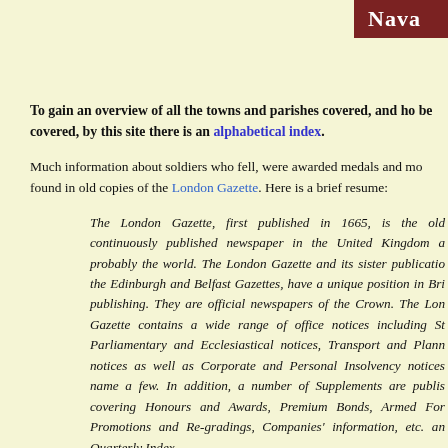Nava
To gain an overview of all the towns and parishes covered, and ho be covered, by this site there is an alphabetical index.
Much information about soldiers who fell, were awarded medals and mo found in old copies of the London Gazette. Here is a brief resume:
The London Gazette, first published in 1665, is the old continuously published newspaper in the United Kingdom a probably the world. The London Gazette and its sister publicatio the Edinburgh and Belfast Gazettes, have a unique position in Bri publishing. They are official newspapers of the Crown. The Lon Gazette contains a wide range of office notices including St Parliamentary and Ecclesiastical notices, Transport and Plann notices as well as Corporate and Personal Insolvency notices name a few. In addition, a number of Supplements are publis covering Honours and Awards, Premium Bonds, Armed For Promotions and Re-gradings, Companies' information, etc. an Quarterly Index.
In the 17th century, it was believed that National efficiency depenc on the intelligence received by the Crown and that the reckl